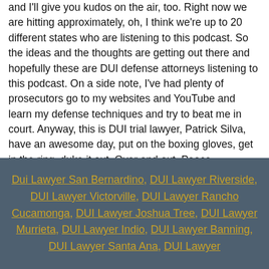and I'll give you kudos on the air, too. Right now we are hitting approximately, oh, I think we're up to 20 different states who are listening to this podcast. So the ideas and the thoughts are getting out there and hopefully these are DUI defense attorneys listening to this podcast. On a side note, I've had plenty of prosecutors go to my websites and YouTube and learn my defense techniques and try to beat me in court. Anyway, this is DUI trial lawyer, Patrick Silva, have an awesome day, put on the boxing gloves, get in the ring, duke it out. Over and out. Peace.
Thank you for listening to the DUI trial lawyers podcast. This episode brought to you by Silva and Silvalaw.com.
Dui Lawyer San Bernardino, DUI Lawyer Riverside, DUI Lawyer Victorville, DUI Lawyer Rancho Cucamonga, DUI Lawyer Joshua Tree, DUI Lawyer Murrieta, DUI Lawyer Indio, DUI Lawyer Banning, DUI Lawyer Santa Ana, DUI Lawyer